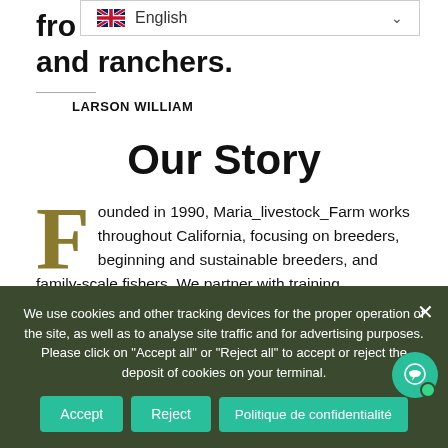fro… and ranchers.
[Figure (screenshot): Language selector dropdown showing UK flag and 'English' with dropdown arrow]
LARSON WILLIAM
Our Story
Founded in 1990, Maria_livestock_Farm works throughout California, focusing on breeders, beginning and sustainable breeders, and family-scale fishers. We partner with training programs, impact investors, public agencies, and other nonprofits, weaving a supportive ecosystem for next-
We use cookies and other tracking devices for the proper operation of the site, as well as to analyse site traffic and for advertising purposes. Please click on "Accept all" or "Reject all" to accept or reject the deposit of cookies on your terminal.